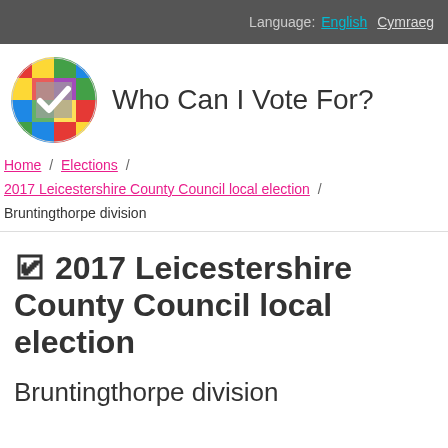Language: English Cymraeg
[Figure (logo): Who Can I Vote For? colorful checkered circle logo with a white checkmark]
Who Can I Vote For?
Home / Elections / 2017 Leicestershire County Council local election / Bruntingthorpe division
🗳 2017 Leicestershire County Council local election
Bruntingthorpe division